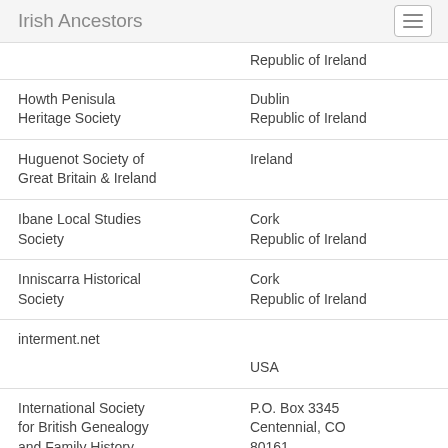Irish Ancestors
| Organization | Location |
| --- | --- |
|  | Republic of Ireland |
| Howth Penisula Heritage Society | Dublin
Republic of Ireland |
| Huguenot Society of Great Britain & Ireland | Ireland |
| Ibane Local Studies Society | Cork
Republic of Ireland |
| Inniscarra Historical Society | Cork
Republic of Ireland |
| interment.net | USA |
| International Society for British Genealogy and Family History | P.O. Box 3345
Centennial, CO
80161 |